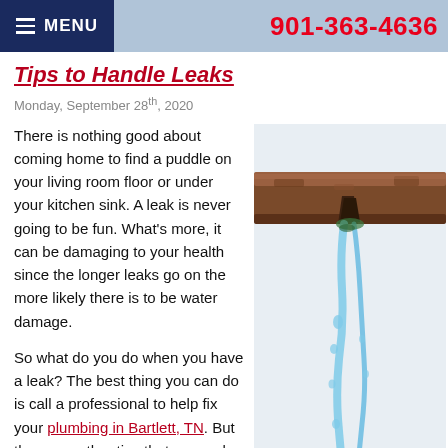≡ MENU   901-363-4636
Tips to Handle Leaks
Monday, September 28th, 2020
There is nothing good about coming home to find a puddle on your living room floor or under your kitchen sink. A leak is never going to be fun. What's more, it can be damaging to your health since the longer leaks go on the more likely there is to be water damage.
[Figure (photo): Close-up photo of a rusted pipe with water leaking and dripping from a crack, water splashing downward]
So what do you do when you have a leak? The best thing you can do is call a professional to help fix your plumbing in Bartlett, TN. But there are other tips that can make this situation a lot easier.